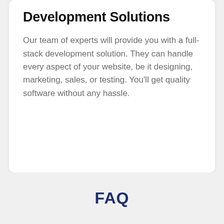Development Solutions
Our team of experts will provide you with a full-stack development solution. They can handle every aspect of your website, be it designing, marketing, sales, or testing. You'll get quality software without any hassle.
FAQ